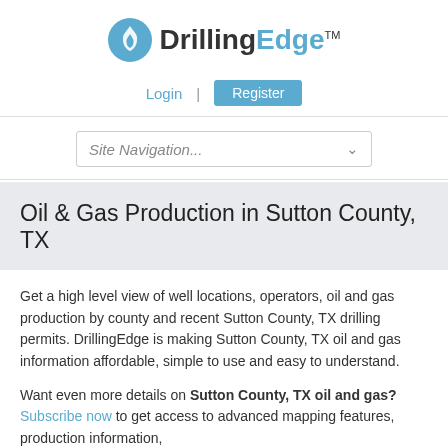[Figure (logo): DrillingEdge logo with blue flame circle icon and bold text 'DrillingEdge' with TM mark]
Login  |  Register
Site Navigation...
Oil & Gas Production in Sutton County, TX
Get a high level view of well locations, operators, oil and gas production by county and recent Sutton County, TX drilling permits. DrillingEdge is making Sutton County, TX oil and gas information affordable, simple to use and easy to understand.
Want even more details on Sutton County, TX oil and gas? Subscribe now to get access to advanced mapping features, production information,